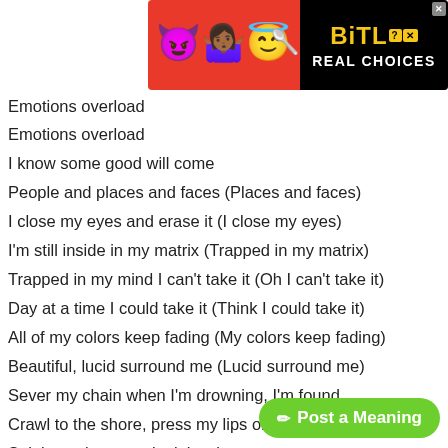[Figure (infographic): BitLife app advertisement banner with emoji characters (devil, person shrugging, angel) on red background, and black panel with BitLife logo and 'REAL CHOICES' text]
Emotions overload
Emotions overload
I know some good will come
People and places and faces (Places and faces)
I close my eyes and erase it (I close my eyes)
I'm still inside in my matrix (Trapped in my matrix)
Trapped in my mind I can't take it (Oh I can't take it)
Day at a time I could take it (Think I could take it)
All of my colors keep fading (My colors keep fading)
Beautiful, lucid surround me (Lucid surround me)
Sever my chain when I'm drowning, I'm found
Crawl to the shore, press my lips on the ground
Salt in my lungs make it hard to pronounce
Look to the hills from which cometh my help
Can't wait forever, I'm taking my s...
Eat from the tree til I garner my strength